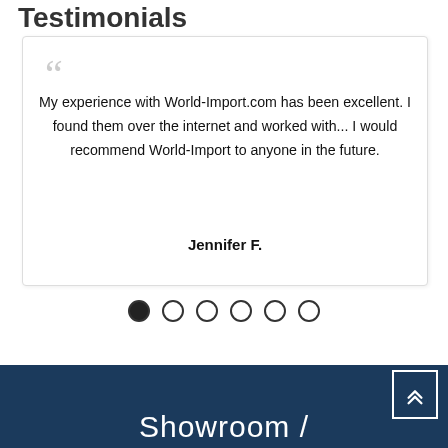Testimonials
My experience with World-Import.com has been excellent. I found them over the internet and worked with... I would recommend World-Import to anyone in the future.

Jennifer F.
[Figure (other): Pagination dots — 6 dots, first one filled/active, rest empty circles]
Showroom /